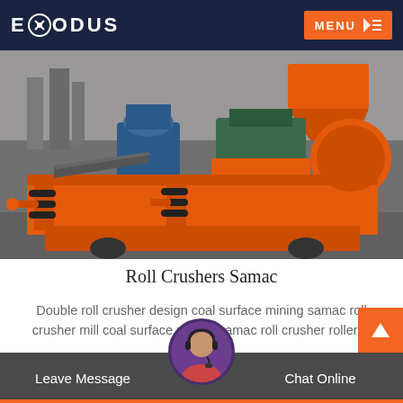EXODUS | MENU
[Figure (photo): Industrial orange double roll crusher machine with blue motor and black springs/rollers in a factory warehouse setting]
Roll Crushers Samac
Double roll crusher design coal surface mining samac roll crusher mill coal surface mining samac roll crusher roller…
READ MORE
Leave Message | Chat Online